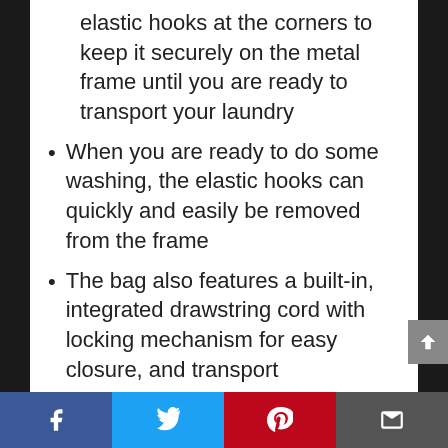elastic hooks at the corners to keep it securely on the metal frame until you are ready to transport your laundry
When you are ready to do some washing, the elastic hooks can quickly and easily be removed from the frame
The bag also features a built-in, integrated drawstring cord with locking mechanism for easy closure, and transport
There is also an attached handle for easy carrying